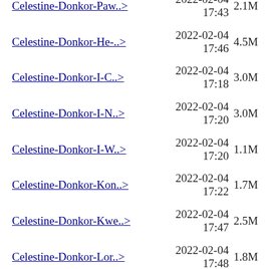Celestine-Donkor-Paw..> 2022-02-04 17:43 2.1M
Celestine-Donkor-He-..> 2022-02-04 17:46 4.5M
Celestine-Donkor-I-C..> 2022-02-04 17:18 3.0M
Celestine-Donkor-I-N..> 2022-02-04 17:20 3.0M
Celestine-Donkor-I-W..> 2022-02-04 17:20 1.1M
Celestine-Donkor-Kon..> 2022-02-04 17:22 1.7M
Celestine-Donkor-Kwe..> 2022-02-04 17:47 2.5M
Celestine-Donkor-Lor..> 2022-02-04 17:48 1.8M
Celestine-Donkor-Ma-..> 2022-02-04 17:24 2.5M
Celestine-Donkor-Man..> 2022-02-04 17:25 2.0M
Celestine-Donkor-Me-..> 2022-02-04 17:27 2.5M
Celestine-Donkor-Med..> 2022-02-04 17:28 2.6M